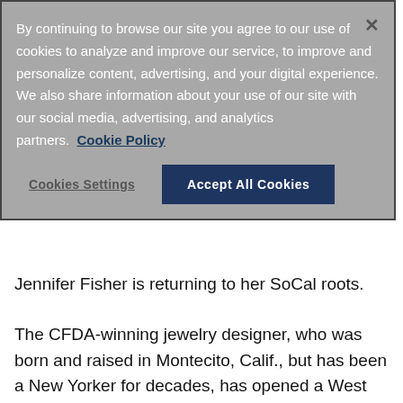By continuing to browse our site you agree to our use of cookies to analyze and improve our service, to improve and personalize content, advertising, and your digital experience. We also share information about your use of our site with our social media, advertising, and analytics partners. Cookie Policy
Cookies Settings | Accept All Cookies
Jennifer Fisher is returning to her SoCal roots.
The CFDA-winning jewelry designer, who was born and raised in Montecito, Calif., but has been a New Yorker for decades, has opened a West Coast flagship store in Beverly Hills, Calif., at 450 N. Canon Drive. The 1,200-square-foot space is